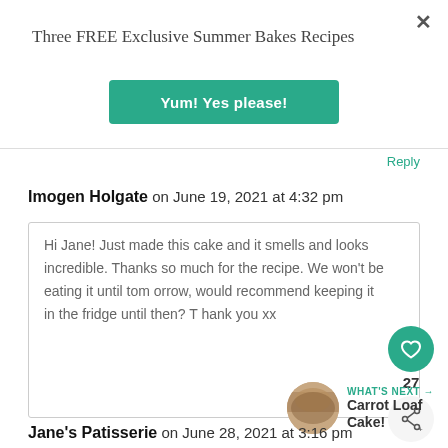×
Three FREE Exclusive Summer Bakes Recipes
Yum! Yes please!
Reply
Imogen Holgate on June 19, 2021 at 4:32 pm
Hi Jane! Just made this cake and it smells and looks incredible. Thanks so much for the recipe. We won't be eating it until tomorrow, would recommend keeping it in the fridge until then? Thank you xx
27
WHAT'S NEXT → Carrot Loaf Cake!
Jane's Patisserie on June 28, 2021 at 3:16 pm